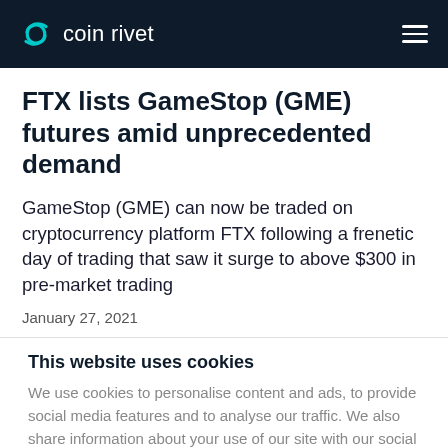coin rivet
FTX lists GameStop (GME) futures amid unprecedented demand
GameStop (GME) can now be traded on cryptocurrency platform FTX following a frenetic day of trading that saw it surge to above $300 in pre-market trading
January 27, 2021
This website uses cookies
We use cookies to personalise content and ads, to provide social media features and to analyse our traffic. We also share information about your use of our site with our social media, advertising and analytics partners who may